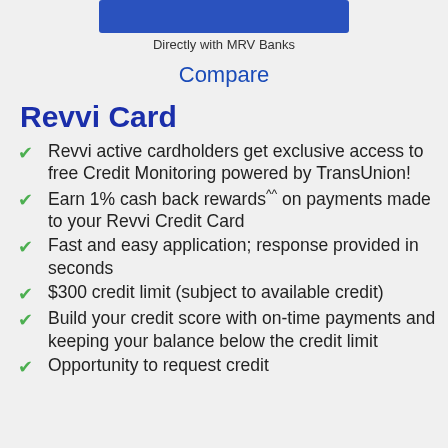Directly with MRV Banks
Compare
Revvi Card
Revvi active cardholders get exclusive access to free Credit Monitoring powered by TransUnion!
Earn 1% cash back rewards^^ on payments made to your Revvi Credit Card
Fast and easy application; response provided in seconds
$300 credit limit (subject to available credit)
Build your credit score with on-time payments and keeping your balance below the credit limit
Opportunity to request credit